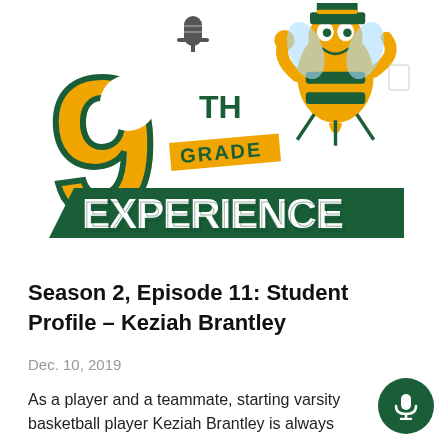[Figure (logo): 9th Grade Experience podcast logo with a bee mascot holding a microphone, featuring a large gold '9' with 'th Grade' and 'EXPERIENCE' in dark green and white text on a green banner.]
Season 2, Episode 11: Student Profile – Keziah Brantley
Dec. 10, 2019
As a player and a teammate, starting varsity basketball player Keziah Brantley is always